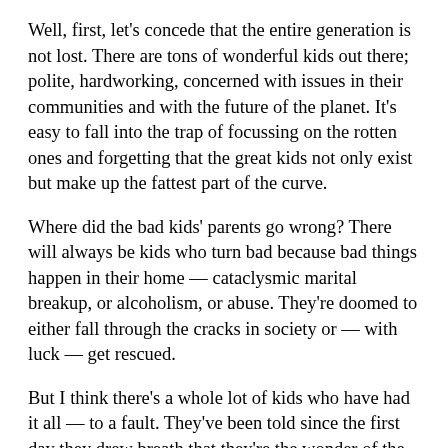Well, first, let's concede that the entire generation is not lost. There are tons of wonderful kids out there; polite, hardworking, concerned with issues in their communities and with the future of the planet. It's easy to fall into the trap of focussing on the rotten ones and forgetting that the great kids not only exist but make up the fattest part of the curve.
Where did the bad kids' parents go wrong? There will always be kids who turn bad because bad things happen in their home — cataclysmic marital breakup, or alcoholism, or abuse. They're doomed to either fall through the cracks in society or — with luck — get rescued.
But I think there's a whole lot of kids who have had it all — to a fault. They've been told since the first day they drew breath that they're the wonder of the universe. They chew a crayon,